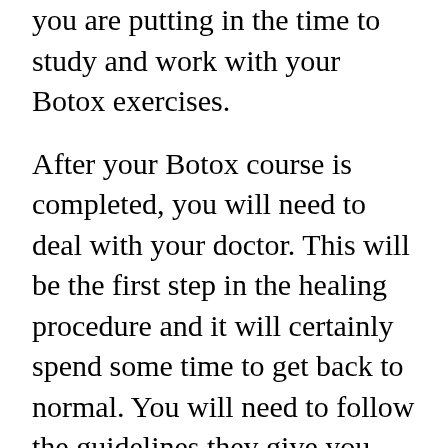you are putting in the time to study and work with your Botox exercises.
After your Botox course is completed, you will need to deal with your doctor. This will be the first step in the healing procedure and it will certainly spend some time to get back to normal. You will need to follow the guidelines they give you word for word and you will certainly wish to make certain that you take this component of the training course seriously.
You must keep in mind that Botox is a shot that you can access any type of factor in your life as there is no end this can't affe...